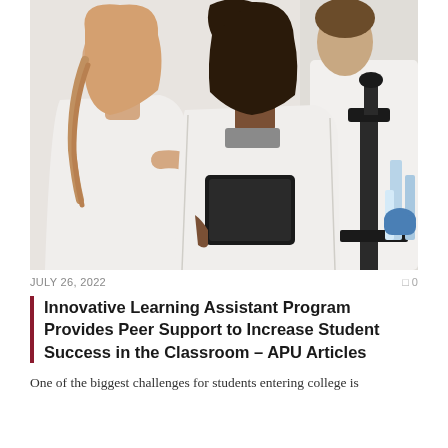[Figure (photo): Two women in white lab coats looking at a tablet together in a laboratory setting. A third person in a white coat is visible in the background, along with a microscope and laboratory glassware on the right side.]
JULY 26, 2022                                                                     0
Innovative Learning Assistant Program Provides Peer Support to Increase Student Success in the Classroom – APU Articles
One of the biggest challenges for students entering college is